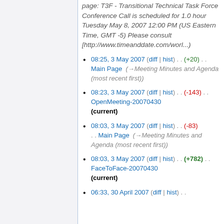page: T3F - Transitional Technical Task Force Conference Call is scheduled for 1.0 hour Tuesday May 8, 2007 12:00 PM (US Eastern Time, GMT -5) Please consult [http://www.timeanddate.com/worl...)
08:25, 3 May 2007 (diff | hist) . . (+20) . . Main Page (→Meeting Minutes and Agenda (most recent first))
08:23, 3 May 2007 (diff | hist) . . (-143) . . OpenMeeting-20070430 (current)
08:03, 3 May 2007 (diff | hist) . . (-83) . . Main Page (→Meeting Minutes and Agenda (most recent first))
08:03, 3 May 2007 (diff | hist) . . (+782) . . FaceToFace-20070430 (current)
06:33, 30 April 2007 (diff | hist) . .